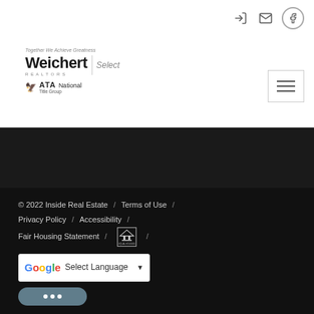[Figure (logo): Weichert Realtors Select logo with ATA National Title Group logo below]
Data is updated as of August 24, 2022 9:55 AM UTC Information deemed reliable but not guaranteed. The data relating   Show More...
© 2022 Inside Real Estate  /  Terms of Use  /  Privacy Policy  /  Accessibility  /  Fair Housing Statement  /  [Equal Housing Opportunity logo]  /  Select Language